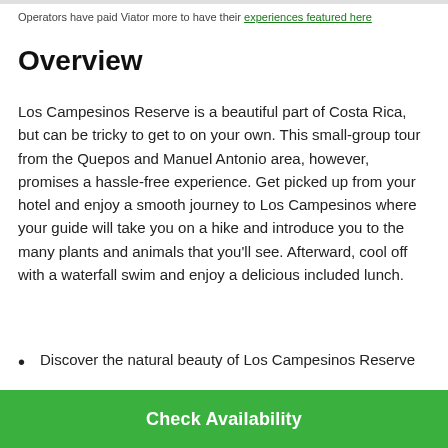Operators have paid Viator more to have their experiences featured here
Overview
Los Campesinos Reserve is a beautiful part of Costa Rica, but can be tricky to get to on your own. This small-group tour from the Quepos and Manuel Antonio area, however, promises a hassle-free experience. Get picked up from your hotel and enjoy a smooth journey to Los Campesinos where your guide will take you on a hike and introduce you to the many plants and animals that you'll see. Afterward, cool off with a waterfall swim and enjoy a delicious included lunch.
Discover the natural beauty of Los Campesinos Reserve
Learn about the reserve's many species of plants and
Check Availability